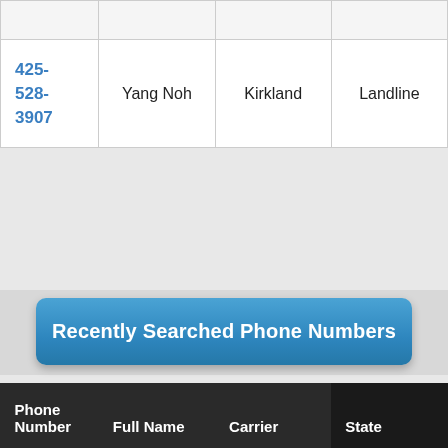| Phone Number | Full Name | Carrier |  |
| --- | --- | --- | --- |
|  |  |  |  |
| 425-528-3907 | Yang Noh | Kirkland | Landline |
Recently Searched Phone Numbers
| Phone Number | Full Name | Carrier | State |
| --- | --- | --- | --- |
|  |  |  |  |